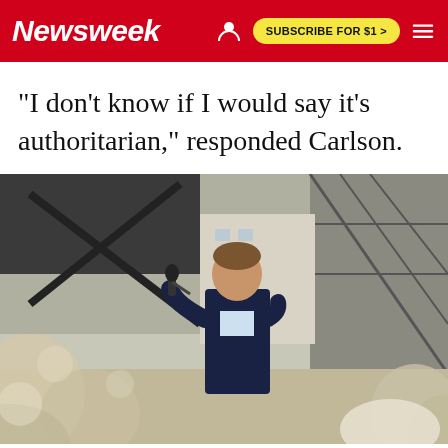Newsweek | SUBSCRIBE FOR $1 >
"I don't know if I would say it's authoritarian," responded Carlson.
[Figure (photo): A man in a dark suit speaking at an outdoor event, holding a microphone, with scaffolding and crowd visible in background.]